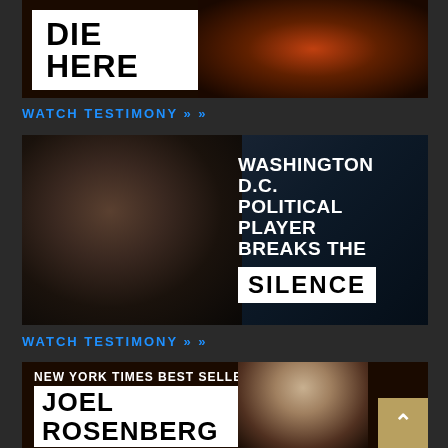[Figure (screenshot): Dark background image with white box containing bold text 'DIE HERE' and a close-up photo of an elderly man to the right]
WATCH TESTIMONY »
[Figure (screenshot): Dark cinematic image of a man in a suit seated, with bold white text overlay reading 'WASHINGTON D.C. POLITICAL PLAYER BREAKS THE SILENCE' where SILENCE is in a white box]
WATCH TESTIMONY »
[Figure (screenshot): Dark image with text 'NEW YORK TIMES BEST SELLER' and white box with 'JOEL ROSENBERG', man visible to the right, and a gold scroll-to-top button in bottom right corner]